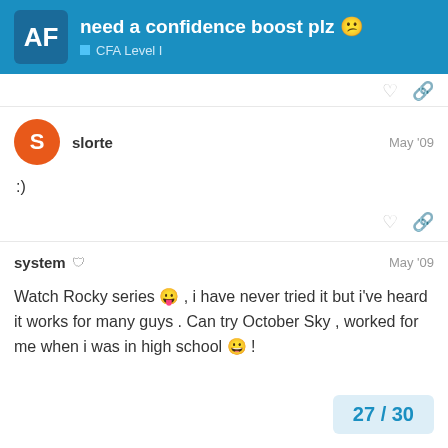need a confidence boost plz 😕 — CFA Level I
slorte — May '09
:)
system — May '09
Watch Rocky series 😛 , i have never tried it but i've heard it works for many guys . Can try October Sky , worked for me when i was in high school 😀 !
27 / 30